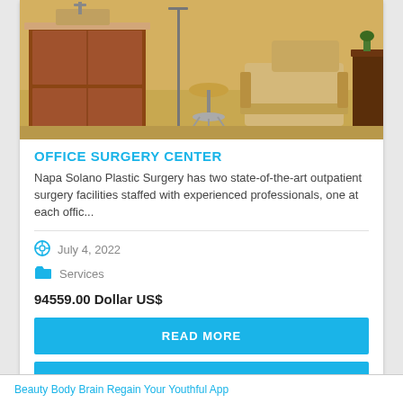[Figure (photo): Interior of a medical office/surgery center showing wooden cabinetry, a medical examination chair, a rolling stool, and other furnishings with warm yellow/beige tones.]
OFFICE SURGERY CENTER
Napa Solano Plastic Surgery has two state-of-the-art outpatient surgery facilities staffed with experienced professionals, one at each offic...
July 4, 2022
Services
94559.00 Dollar US$
READ MORE
VIEW WEBSITE
Beauty Body Brain Regain Your Youthful App